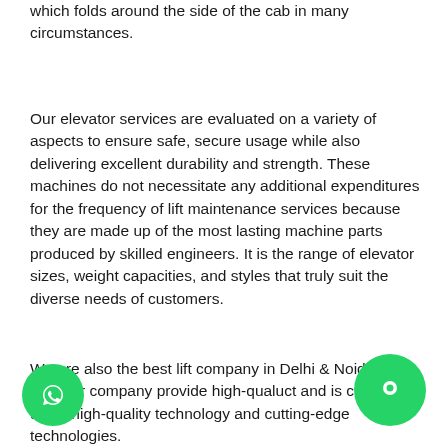which folds around the side of the cab in many circumstances.
Our elevator services are evaluated on a variety of aspects to ensure safe, secure usage while also delivering excellent durability and strength. These machines do not necessitate any additional expenditures for the frequency of lift maintenance services because they are made up of the most lasting machine parts produced by skilled engineers. It is the range of elevator sizes, weight capacities, and styles that truly suit the diverse needs of customers.
We are also the best lift company in Delhi & Noida our elevator company provide high-quality product and is created using high-quality technology and cutting-edge technologies.